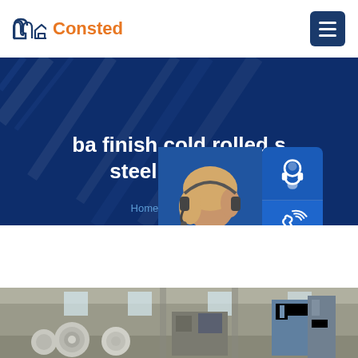[Figure (logo): Consted company logo with house icon in navy blue and orange text]
[Figure (screenshot): Hero banner with dark navy blue background, diagonal line graphics, bold white title 'ba finish cold rolled s... steel strip 430', breadcrumb navigation 'Home >> A283 steel', and overlaid customer service chat widget showing 24/7 support lady, icons for chat/phone/skype, and 'online live' button]
[Figure (photo): Factory interior showing steel coil processing machinery and equipment in a large industrial warehouse]